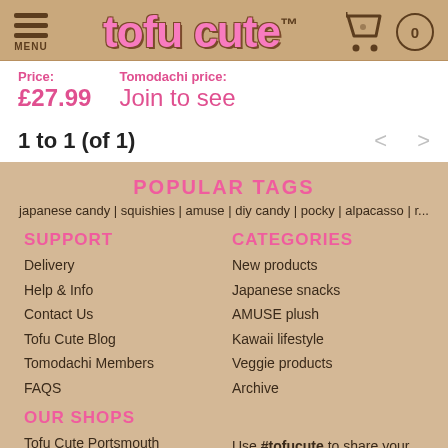tofu cute™ — MENU | 0
Price: £27.99   Tomodachi price: Join to see
1 to 1 (of 1)    <    >
POPULAR TAGS
japanese candy | squishies | amuse | diy candy | pocky | alpacasso | r...
SUPPORT
Delivery
Help & Info
Contact Us
Tofu Cute Blog
Tomodachi Members
FAQS
CATEGORIES
New products
Japanese snacks
AMUSE plush
Kawaii lifestyle
Veggie products
Archive
OUR SHOPS
Tofu Cute Portsmouth
Tofu Cute @ ARTBOX
Tofu Cute Pop-Ups
Use #tofucute to share your photos